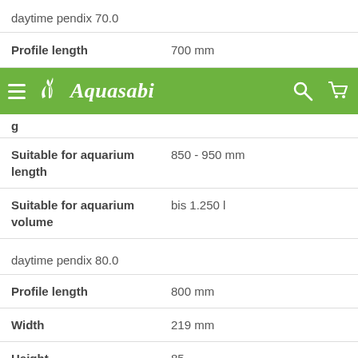daytime pendix 70.0
| Profile length | 700 mm |
| Suitable for aquarium length | 850 - 950 mm |
| Suitable for aquarium volume | bis 1.250 l |
[Figure (screenshot): Aquasabi website navigation bar with hamburger menu, logo, search icon, and cart icon on green background]
daytime pendix 80.0
| Profile length | 800 mm |
| Width | 219 mm |
| Height | 85... |